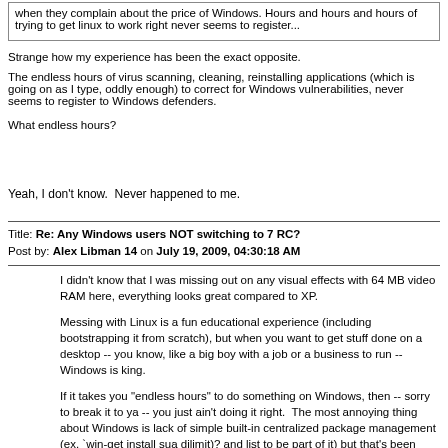when they complain about the price of Windows. Hours and hours and hours of trying to get linux to work right never seems to register...
Strange how my experience has been the exact opposite.

The endless hours of virus scanning, cleaning, reinstalling applications (which is going on as I type, oddly enough) to correct for Windows vulnerabilities, never seems to register to Windows defenders.
What endless hours?
Yeah, I don't know.  Never happened to me.
Title: Re: Any Windows users NOT switching to 7 RC?
Post by: Alex Libman 14 on July 19, 2009, 04:30:18 AM
I didn't know that I was missing out on any visual effects with 64 MB video RAM here, everything looks great compared to XP.
Messing with Linux is a fun educational experience (including bootstrapping it from scratch), but when you want to get stuff done on a desktop -- you know, like a big boy with a job or a business to run -- Windows is king.
If it takes you "endless hours" to do something on Windows, then -- sorry to break it to ya -- you just ain't doing it right.  The most annoying thing about Windows is lack of simple built-in centralized package management (ex. `win-get install sua dilimit)? and list to be part of it) but that's been there...